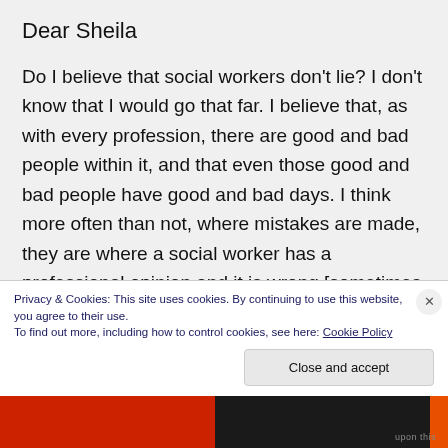Dear Sheila
Do I believe that social workers don't lie? I don't know that I would go that far. I believe that, as with every profession, there are good and bad people within it, and that even those good and bad people have good and bad days. I think more often than not, where mistakes are made, they are where a social worker has a professional opinion and it is wrong [sometimes they
Privacy & Cookies: This site uses cookies. By continuing to use this website, you agree to their use.
To find out more, including how to control cookies, see here: Cookie Policy